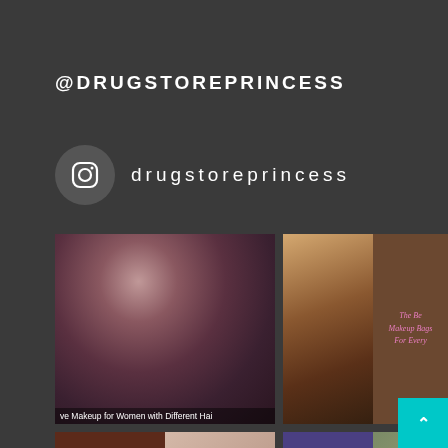@DRUGSTOREPRINCESS
drugstoreprincess
[Figure (photo): Photo of woman with dramatic eye makeup and dark hair, with caption 've Makeup for Women with Different Hai']
[Figure (photo): Photo of makeup products and brushes on table, beside brown panel reading 'The Be Makeup Bags For Every']
[Figure (photo): Bottom left image split dark brown and light beige]
[Figure (photo): Bottom right image split purple and green/white]